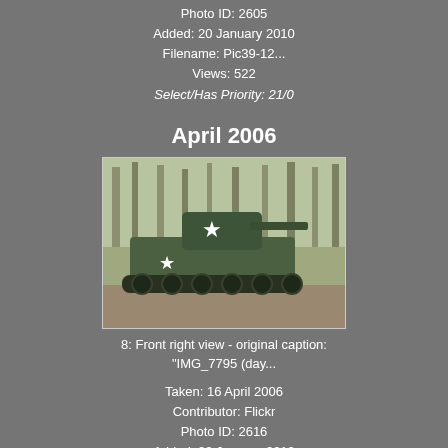Photo ID: 2605
Added: 20 January 2010
Filename: Pic39-12...
Views: 522
Select/Has Priority: 21/0
April 2006
[Figure (photo): Sherman tank, front-right view, green with white stars, in a forest setting]
8: Front right view - original caption: "IMG_7795 (day...
Taken: 16 April 2006
Contributor: Flickr
Photo ID: 2616
Added: 22 January 2010
Filename: 13529780...
Views: 250
Select/Has Priority: 21/0